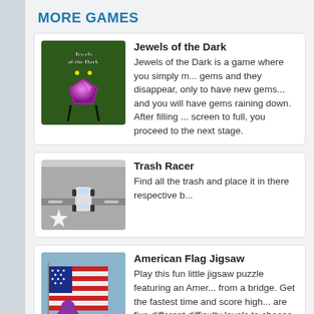MORE GAMES
Jewels of the Dark
Jewels of the Dark is a game where you simply m... gems and they disappear, only to have new gems... and you will have gems raining down. After filling ... screen to full, you proceed to the next stage.
[Figure (illustration): Game thumbnail for Jewels of the Dark showing gem on dark green background]
Trash Racer
Find all the trash and place it in there respective b...
[Figure (illustration): Game thumbnail for Trash Racer showing a car from above on grey road]
American Flag Jigsaw
Play this fun little jigsaw puzzle featuring an Amer... from a bridge. Get the fastest time and score high... are five different difficulty levels to choose from fo... players. Simple has 9 pieces, Easy has 49 pieces...
[Figure (illustration): Game thumbnail for American Flag Jigsaw showing American flag with purple character]
4 IN A ROW VALENTINE
Wie kent het niet: 4-op-'n Rij is een van de meest... allertijden.
[Figure (illustration): Game thumbnail for 4 IN A ROW VALENTINE showing 4 OP N RIJ purple background with person]